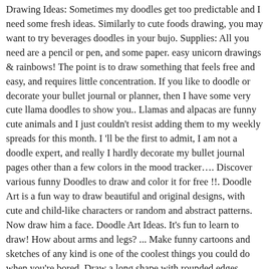Drawing Ideas: Sometimes my doodles get too predictable and I need some fresh ideas. Similarly to cute foods drawing, you may want to try beverages doodles in your bujo. Supplies: All you need are a pencil or pen, and some paper. easy unicorn drawings & rainbows! The point is to draw something that feels free and easy, and requires little concentration. If you like to doodle or decorate your bullet journal or planner, then I have some very cute llama doodles to show you.. Llamas and alpacas are funny cute animals and I just couldn't resist adding them to my weekly spreads for this month. I 'll be the first to admit, I am not a doodle expert, and really I hardly decorate my bullet journal pages other than a few colors in the mood tracker…. Discover various funny Doodles to draw and color it for free !!. Doodle Art is a fun way to draw beautiful and original designs, with cute and child-like characters or random and abstract patterns. Now draw him a face. Doodle Art Ideas. It's fun to learn to draw! How about arms and legs? ... Make funny cartoons and sketches of any kind is one of the coolest things you could do when you're bored. Draw a long shape with rounded edges. Draw legs and feet for your raindrop monster. Come visit UncleFred.com and learn to draw the easy way. It is really nice to know that I am not the only one out there who needs to doodle to maintain their sanity. Photo: Alena Koval. I drew two eyes, two eyebrows, a mouth and a pointy tooth that sticks up. So I woud search for a different book of "How to Draw Funny" 3 people found this helpful. You can draw any face you want! You